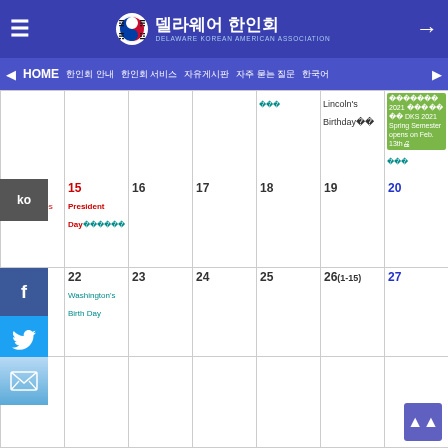델라웨어 한인회 - DELAWARE KOREAN AMERICAN ASSOCIATION
HOME  한인회 안내  한인회 서비스  자유게시판  자주 묻는 질문  한국어
[Figure (screenshot): Monthly calendar view for February showing dates 14-27 with events: St. Valentines (14), President's Day (15), Washington's Birth Day (22), Lincoln's Birthday (12 area), DKS 2021 Spring Semester opens on Feb. 13th (green event pill)]